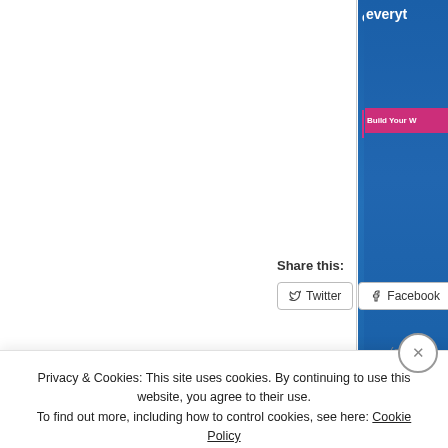[Figure (screenshot): WordPress.com advertisement banner partially visible on right side, showing 'everyt...' text in white bold, a pink 'Build Your W...' button, and WordPress logo with 'WordPr...' text on blue gradient background]
Share this:
Twitter   Facebook   Email
Privacy & Cookies: This site uses cookies. By continuing to use this website, you agree to their use.
To find out more, including how to control cookies, see here: Cookie Policy
Close and accept